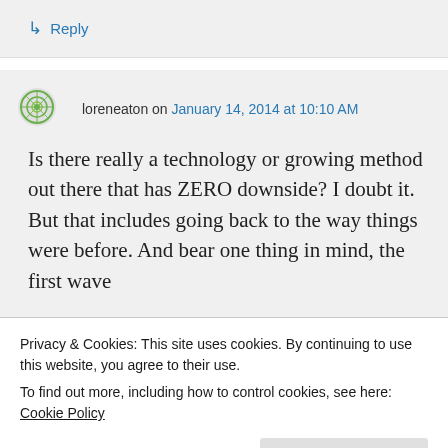↳ Reply
loreneaton on January 14, 2014 at 10:10 AM
Is there really a technology or growing method out there that has ZERO downside? I doubt it. But that includes going back to the way things were before. And bear one thing in mind, the first wave
Privacy & Cookies: This site uses cookies. By continuing to use this website, you agree to their use.
To find out more, including how to control cookies, see here: Cookie Policy
Close and accept
even though it is not very obvious. And for